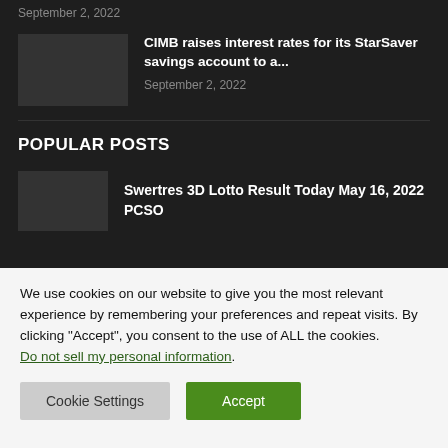September 2, 2022
CIMB raises interest rates for its StarSaver savings account to a...
September 2, 2022
POPULAR POSTS
Swertres 3D Lotto Result Today May 16, 2022 PCSO
We use cookies on our website to give you the most relevant experience by remembering your preferences and repeat visits. By clicking “Accept”, you consent to the use of ALL the cookies. Do not sell my personal information.
Cookie Settings
Accept